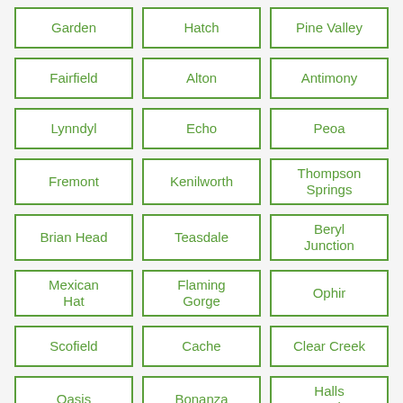Garden
Hatch
Pine Valley
Fairfield
Alton
Antimony
Lynndyl
Echo
Peoa
Fremont
Kenilworth
Thompson Springs
Brian Head
Teasdale
Beryl Junction
Mexican Hat
Flaming Gorge
Ophir
Scofield
Cache
Clear Creek
Oasis
Bonanza
Halls Crossing